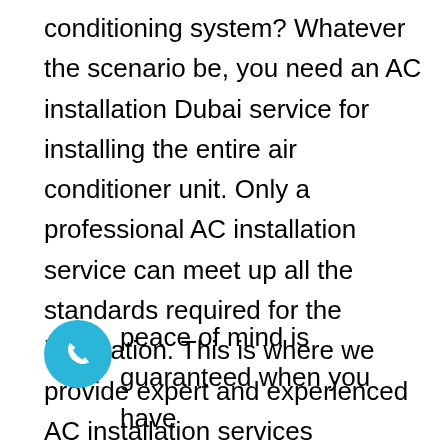conditioning system? Whatever the scenario be, you need an AC installation Dubai service for installing the entire air conditioner unit. Only a professional AC installation service can meet up all the standards required for the installation. This is where we provide expert and experienced AC installation services anywhere in Dubai. We have qualified, vetted, and authorized AC technicians for your indoor and outdoor AC component installation services. All our technicians treat your residence and business sector with the utmost attention and dedication.
[Figure (illustration): A circular blue button with a white telephone handset icon]
Your peace of mind is guaranteed when you have